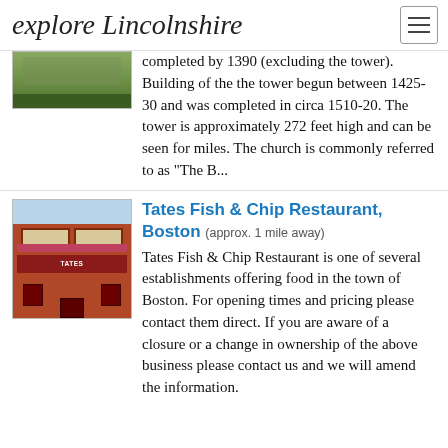explore Lincolnshire
[Figure (photo): Partial view of a church or historic building with green lawn]
completed by 1390 (excluding the tower). Building of the the tower begun between 1425-30 and was completed in circa 1510-20. The tower is approximately 272 feet high and can be seen for miles. The church is commonly referred to as "The B...
Tates Fish & Chip Restaurant, Boston (approx. 1 mile away)
[Figure (photo): Photo of Tates Fish & Chip Restaurant exterior, a red brick building with flower baskets and signage]
Tates Fish & Chip Restaurant is one of several establishments offering food in the town of Boston. For opening times and pricing please contact them direct. If you are aware of a closure or a change in ownership of the above business please contact us and we will amend the information.